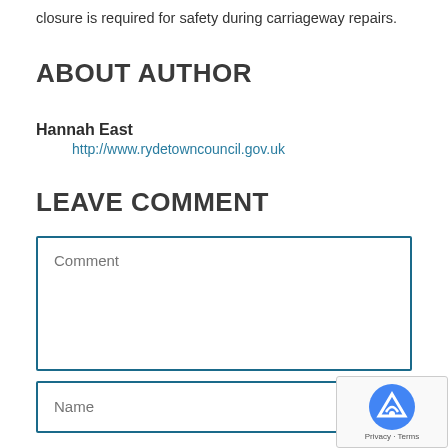closure is required for safety during carriageway repairs.
ABOUT AUTHOR
Hannah East
http://www.rydetowncouncil.gov.uk
LEAVE COMMENT
Comment
Name